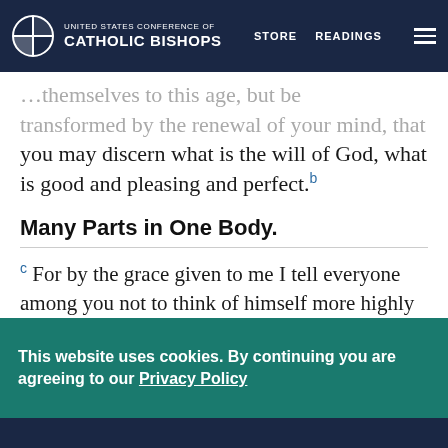UNITED STATES CONFERENCE OF CATHOLIC BISHOPS — STORE  READINGS
…themselves to this age, but be transformed by the renewal of your mind, that you may discern what is the will of God, what is good and pleasing and perfect. [b]
Many Parts in One Body.
[c] For by the grace given to me I tell everyone among you not to think of himself more highly than one ought to think, but to think soberly, each according to the measure of faith that God has apportioned.
[d] …
This website uses cookies. By continuing you are agreeing to our Privacy Policy